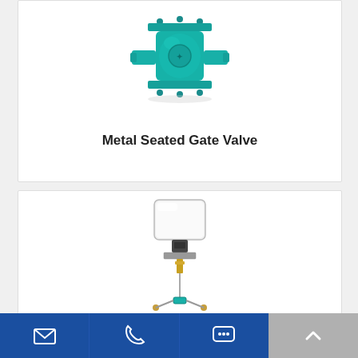[Figure (photo): Metal seated gate valve with teal/green body and flanged ends, viewed from the front]
Metal Seated Gate Valve
[Figure (photo): Electric actuator mounted on a valve stem, with a white rectangular actuator housing and brass/metal stem components]
Email | Phone | Chat | Scroll to top navigation bar